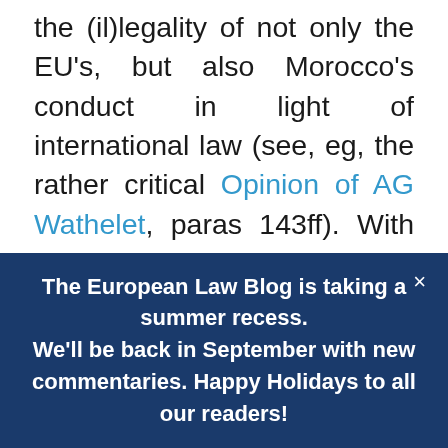the (il)legality of not only the EU's, but also Morocco's conduct in light of international law (see, eg, the rather critical Opinion of AG Wathelet, paras 143ff). With the legal questions relating to the applicability of the AA, the FPA and the 2013 Protocol settled by the Court's judgments, the practical issues relating to the exclusion of Western Sahara and its products are ever-present. Matters such as product labelling, effective control of products, and preferential tariffs remain to be solved, particularly by the Commission.
The European Law Blog is taking a summer recess. We'll be back in September with new commentaries. Happy Holidays to all our readers!